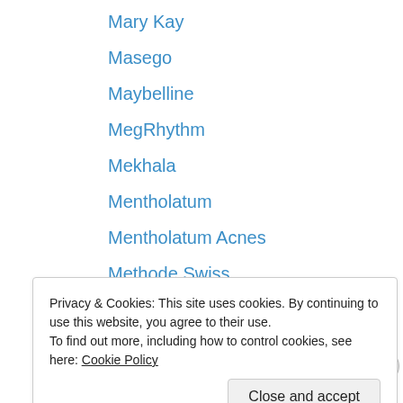Mary Kay
Masego
Maybelline
MegRhythm
Mekhala
Mentholatum
Mentholatum Acnes
Methode Swiss
Michael Kors
Mineral Ice
MKUP
ModelCo
Montagne Jeunesse
Privacy & Cookies: This site uses cookies. By continuing to use this website, you agree to their use.
To find out more, including how to control cookies, see here: Cookie Policy